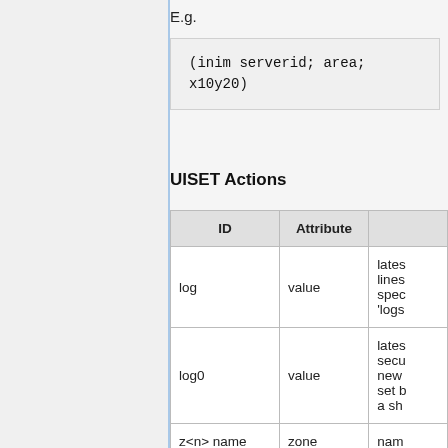E.g.
(inim serverid; area;
x10y20)
UISET Actions
| ID | Attribute |  |
| --- | --- | --- |
| log | value | lates lines spec 'logs |
| log0 | value | lates secu new set b a sh |
| z<n> name | zone | nam |